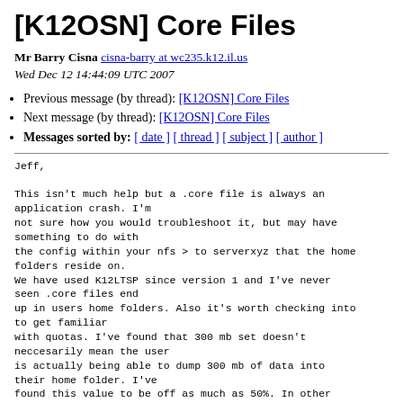[K12OSN] Core Files
Mr Barry Cisna cisna-barry at wc235.k12.il.us
Wed Dec 12 14:44:09 UTC 2007
Previous message (by thread): [K12OSN] Core Files
Next message (by thread): [K12OSN] Core Files
Messages sorted by: [ date ] [ thread ] [ subject ] [ author ]
Jeff,

This isn't much help but a .core file is always an application crash. I'm
not sure how you would troubleshoot it, but may have something to do with
the config within your nfs > to serverxyz that the home folders reside on.
We have used K12LTSP since version 1 and I've never seen .core files end
up in users home folders. Also it's worth checking into to get familiar
with quotas. I've found that 300 mb set doesn't neccesarily mean the user
is actually being able to dump 300 mb of data into their home folder. I've
found this value to be off as much as 50%. In other